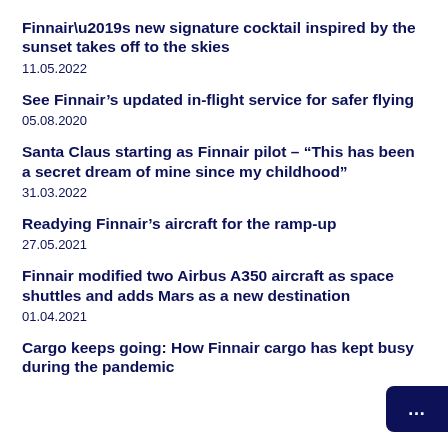Finnair’s new signature cocktail inspired by the sunset takes off to the skies
11.05.2022
See Finnair’s updated in-flight service for safer flying
05.08.2020
Santa Claus starting as Finnair pilot – “This has been a secret dream of mine since my childhood”
31.03.2022
Readying Finnair’s aircraft for the ramp-up
27.05.2021
Finnair modified two Airbus A350 aircraft as space shuttles and adds Mars as a new destination
01.04.2021
Cargo keeps going: How Finnair cargo has kept busy during the pandemic